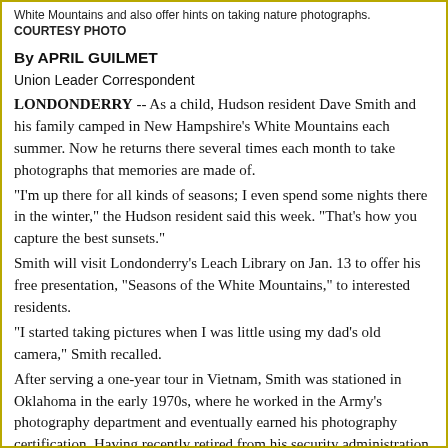White Mountains and also offer hints on taking nature photographs. COURTESY PHOTO
By APRIL GUILMET
Union Leader Correspondent
LONDONDERRY -- As a child, Hudson resident Dave Smith and his family camped in New Hampshire's White Mountains each summer. Now he returns there several times each month to take photographs that memories are made of.
“I’m up there for all kinds of seasons; I even spend some nights there in the winter,” the Hudson resident said this week. “That’s how you capture the best sunsets.”
Smith will visit Londonderry’s Leach Library on Jan. 13 to offer his free presentation, “Seasons of the White Mountains,” to interested residents.
“I started taking pictures when I was little using my dad’s old camera,” Smith recalled.
After serving a one-year tour in Vietnam, Smith was stationed in Oklahoma in the early 1970s, where he worked in the Army’s photography department and eventually earned his photography certification. Having recently retired from his security administration position at Massachusetts Institute of Technology after 35 years of service, Smith specializes in digital photography of the White Mountains and New Hampshire wildlife.